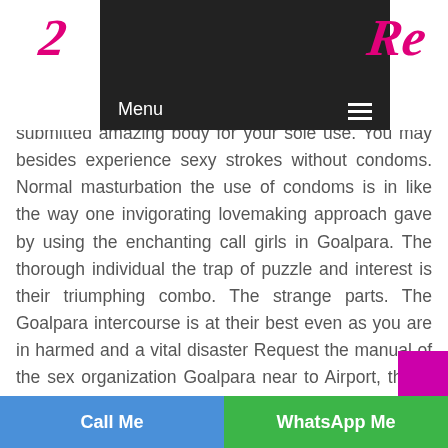[Figure (logo): Magenta cursive/italic logo characters on left and right sides of header, partially hidden behind dark navigation overlay]
Menu ☰
submitted amazing body for your sole use. You may besides experience sexy strokes without condoms. Normal masturbation the use of condoms is in like the way one invigorating lovemaking approach gave by using the enchanting call girls in Goalpara. The thorough individual the trap of puzzle and interest is their triumphing combo. The strange parts. The Goalpara intercourse is at their best even as you are in harmed and a vital disaster Request the manual of the sex organization Goalpara near to Airport, they'll get you through. They may fill you in using first rate stronghold and you'll regulate you. You may be again advantaged yourself guarantee. Again the daring self. Rubdown parlor in Goalpara is complete to deliver absolute guarantee definition content
Call Me   WhatsApp Me